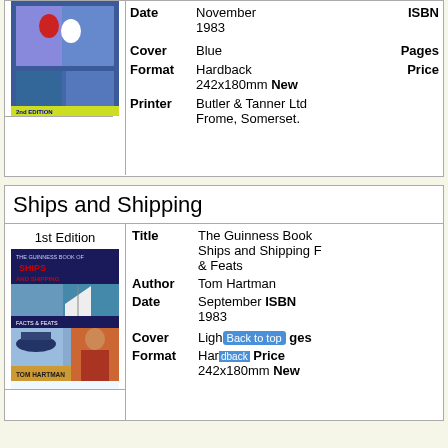| Edition | Field | Value | Field2 | Value2 |
| --- | --- | --- | --- | --- |
| [book image] | Date | November 1983 | ISBN |  |
|  | Cover | Blue | Pages |  |
|  | Format | Hardback 242x180mm | Price New |  |
|  | Printer | Butler & Tanner Ltd Frome, Somerset. |  |  |
Ships and Shipping
| Edition | Field | Value |
| --- | --- | --- |
| 1st Edition | Title | The Guinness Book of Ships and Shipping Facts & Feats |
|  | Author | Tom Hartman |
|  | Date | September 1983 |
|  | ISBN |  |
|  | Cover | Ligh[t] |
|  | Pages |  |
|  | Format | Hardback 242x180mm |
|  | Price New |  |